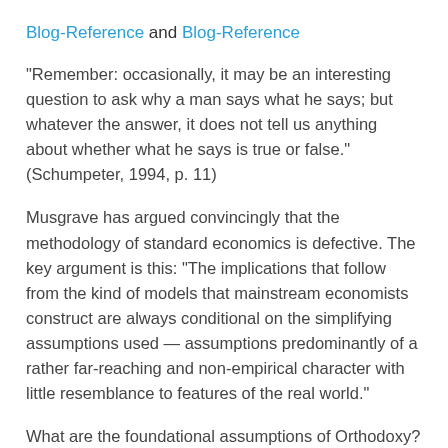Blog-Reference and Blog-Reference
“Remember: occasionally, it may be an interesting question to ask why a man says what he says; but whatever the answer, it does not tell us anything about whether what he says is true or false.” (Schumpeter, 1994, p. 11)
Musgrave has argued convincingly that the methodology of standard economics is defective. The key argument is this: “The implications that follow from the kind of models that mainstream economists construct are always conditional on the simplifying assumptions used — assumptions predominantly of a rather far-reaching and non-empirical character with little resemblance to features of the real world.”
What are the foundational assumptions of Orthodoxy? Courtesy of Weintraub, here they are in a nutshell: “HC1 economic agents have preferences over outcomes; HC2 agents individually optimize subject to constraints; HC3 agent choice is manifest in interrelated markets; HC4 agents